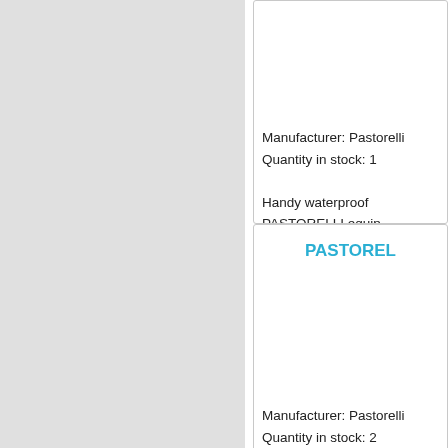Manufacturer: Pastorelli
Quantity in stock: 1

Handy waterproof PASTORELLI equip
PASTOREL
Manufacturer: Pastorelli
Quantity in stock: 2